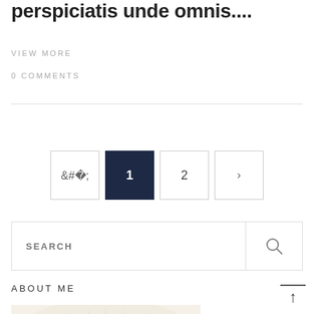perspiciatis unde omnis....
VIEW MORE
0 COMMENTS
[Figure (other): Pagination navigation with previous arrow, page 1 (active/highlighted in dark navy), page 2, and next arrow buttons]
[Figure (other): Search bar with SEARCH label and magnifying glass icon button on the right]
ABOUT ME
[Figure (photo): Photo of a person wearing a white fedora hat with black band, face partially visible from below the hat brim showing eyes]